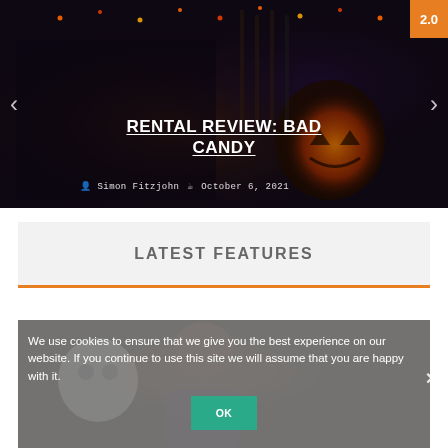[Figure (screenshot): Website carousel slide showing a dark Halloween-themed image with a person in headphones and a jack-o-lantern. Title reads RENTAL REVIEW: BAD CANDY with author Simon Fitzjohn and date October 6, 2021. Navigation arrows on left and right sides. Orange score badge top right showing 2.0.]
LATEST FEATURES
[Figure (photo): Photo of an older man with a puppet or character beside him, partially obscured by a cookie consent overlay.]
We use cookies to ensure that we give you the best experience on our website. If you continue to use this site we will assume that you are happy with it.